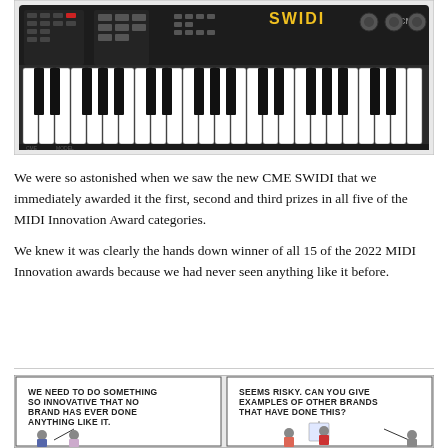[Figure (photo): Photo of CME SWIDI MIDI keyboard synthesizer, black body with white and black piano keys, control buttons and knobs on top panel, SWIDI branding in yellow and CME logo]
We were so astonished when we saw the new CME SWIDI that we immediately awarded it the first, second and third prizes in all five of the MIDI Innovation Award categories.
We knew it was clearly the hands down winner of all 15 of the 2022 MIDI Innovation awards because we had never seen anything like it before.
[Figure (illustration): Two-panel comic strip. Left panel: person at desk says 'WE NEED TO DO SOMETHING SO INNOVATIVE THAT NO BRAND HAS EVER DONE ANYTHING LIKE IT.' Right panel: person at whiteboard says 'SEEMS RISKY. CAN YOU GIVE EXAMPLES OF OTHER BRANDS THAT HAVE DONE THIS?']